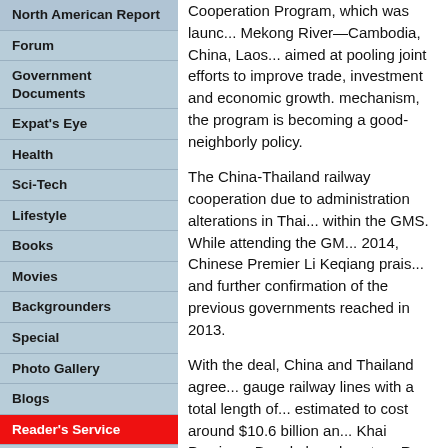North American Report
Forum
Government Documents
Expat's Eye
Health
Sci-Tech
Lifestyle
Books
Movies
Backgrounders
Special
Photo Gallery
Blogs
Reader's Service
Learning with 'Beijing Review'
Cooperation Program, which was launc... Mekong River—Cambodia, China, Laos... aimed at pooling joint efforts to improve trade, investment and economic growth. mechanism, the program is becoming a good-neighborly policy.
The China-Thailand railway cooperation due to administration alterations in Thai... within the GMS. While attending the GM... 2014, Chinese Premier Li Keqiang prais... and further confirmation of the previous governments reached in 2013.
With the deal, China and Thailand agree... gauge railway lines with a total length of... estimated to cost around $10.6 billion an... Khai Province, Bangkok and eastern Ra...
Li also voiced hopes that the cost-effecti... other GMS neighbors.
Observers believe that the railway deal a...